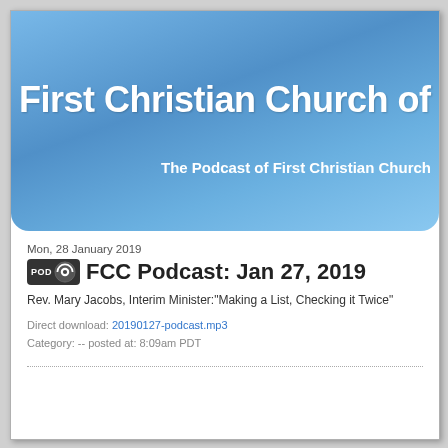[Figure (other): Blue gradient banner with 'First Christian Church of' title and subtitle 'The Podcast of First Christian Church']
Mon, 28 January 2019
FCC Podcast: Jan 27, 2019
Rev. Mary Jacobs, Interim Minister:"Making a List, Checking it Twice"
Direct download: 20190127-podcast.mp3
Category: -- posted at: 8:09am PDT